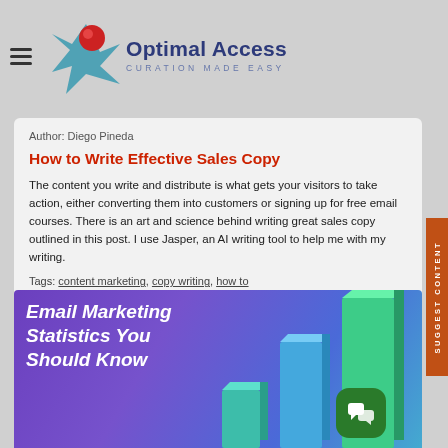Optimal Access — CURATION MADE EASY
Author: Diego Pineda
How to Write Effective Sales Copy
The content you write and distribute is what gets your visitors to take action, either converting them into customers or signing up for free email courses. There is an art and science behind writing great sales copy outlined in this post. I use Jasper, an AI writing tool to help me with my writing.
Tags: content marketing, copy writing, how to
[Figure (illustration): Email Marketing Statistics You Should Know — banner image with 3D bar chart on purple/blue gradient background]
SUGGEST CONTENT